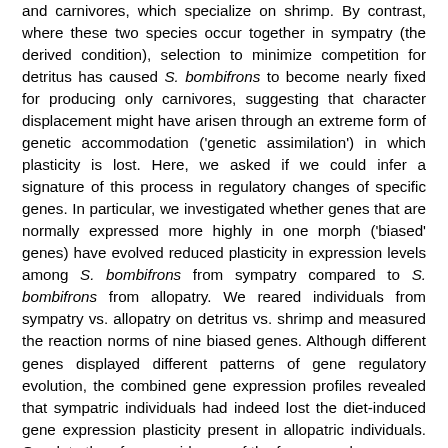and carnivores, which specialize on shrimp. By contrast, where these two species occur together in sympatry (the derived condition), selection to minimize competition for detritus has caused S. bombifrons to become nearly fixed for producing only carnivores, suggesting that character displacement might have arisen through an extreme form of genetic accommodation ('genetic assimilation') in which plasticity is lost. Here, we asked if we could infer a signature of this process in regulatory changes of specific genes. In particular, we investigated whether genes that are normally expressed more highly in one morph ('biased' genes) have evolved reduced plasticity in expression levels among S. bombifrons from sympatry compared to S. bombifrons from allopatry. We reared individuals from sympatry vs. allopatry on detritus vs. shrimp and measured the reaction norms of nine biased genes. Although different genes displayed different patterns of gene regulatory evolution, the combined gene expression profiles revealed that sympatric individuals had indeed lost the diet-induced gene expression plasticity present in allopatric individuals. Our data therefore provide one of the few examples